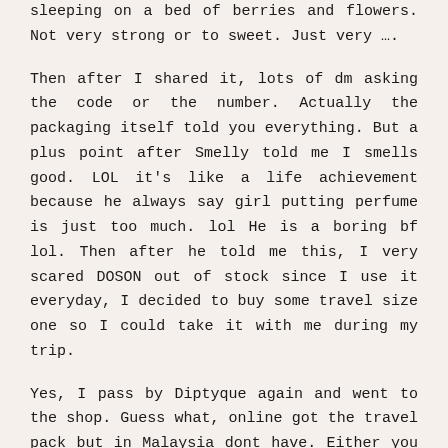sleeping on a bed of berries and flowers. Not very strong or to sweet. Just very ….
Then after I shared it, lots of dm asking the code or the number. Actually the packaging itself told you everything. But a plus point after Smelly told me I smells good. LOL it's like a life achievement because he always say girl putting perfume is just too much. lol He is a boring bf lol. Then after he told me this, I very scared DOSON out of stock since I use it everyday, I decided to buy some travel size one so I could take it with me during my trip.
Yes, I pass by Diptyque again and went to the shop. Guess what, online got the travel pack but in Malaysia dont have. Either you get the 6 in 1 set (only one Doson scent others one I dunno lol) or get the same bottle again. I really dunno which part of my brain not function well on the day. I bought it wtf.